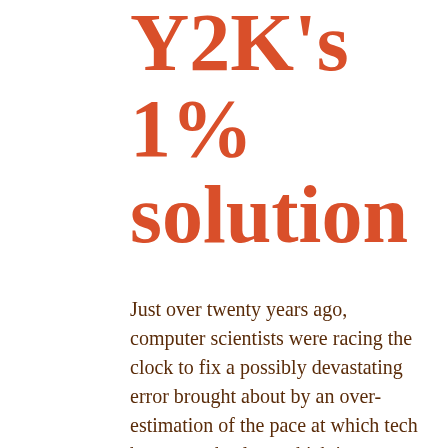Y2K's 1% solution
Just over twenty years ago, computer scientists were racing the clock to fix a possibly devastating error brought about by an over-estimation of the pace at which tech becomes obsolete, which is an over-estimation of the pace of change itself. It turns out that one of the two popular solutions to the problem made the same mistake. And now we're paying for it, but mainly